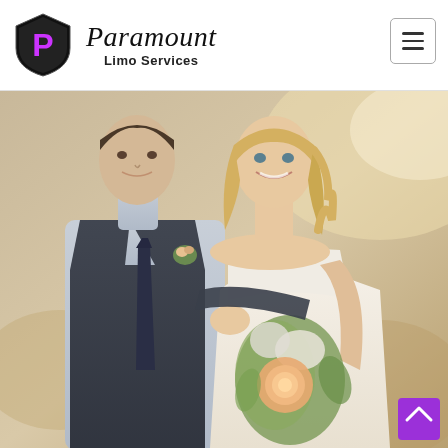[Figure (logo): Paramount Limo Services logo with shield shape, purple P letter inside shield, and cursive Paramount text with 'Limo Services' below]
[Figure (photo): Wedding couple photo: groom in dark vest and tie holding bride in white strapless dress who holds a bouquet of peach roses and wildflowers, outdoor warm lighting]